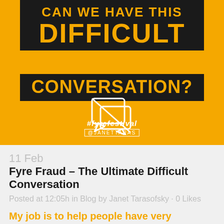[Figure (illustration): Orange background promotional image with black boxes containing text 'DIFFICULT CONVERSATION?' in yellow/orange, a crossed-out speech bubble icon, hashtag #fyrefestival, and @janettaras handle]
11 Feb Fyre Fraud – The Ultimate Difficult Conversation
Posted at 12:05h in Blog by Janet Tarasofsky · 0 Likes
My job is to help people have very